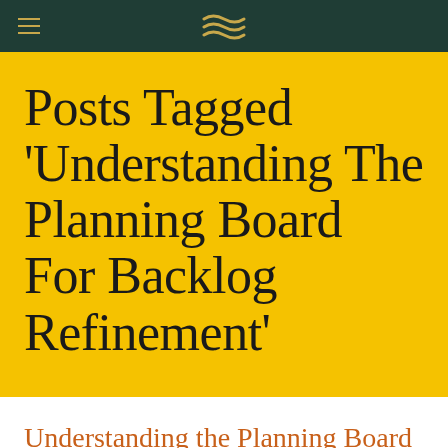Posts Tagged 'Understanding The Planning Board For Backlog Refinement'
Understanding the Planning Board for Backlog Refinement